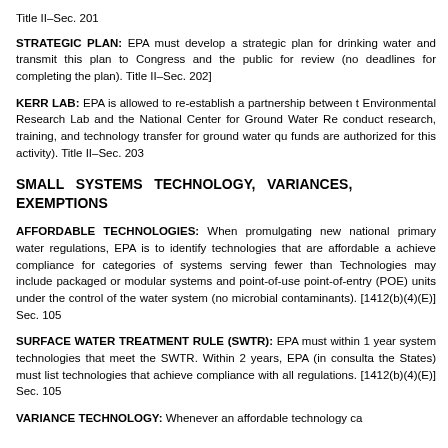Title II–Sec. 201
STRATEGIC PLAN: EPA must develop a strategic plan for drinking water and transmit this plan to Congress and the public for review (no deadlines for completing the plan). Title II–Sec. 202]
KERR LAB: EPA is allowed to re-establish a partnership between the Environmental Research Lab and the National Center for Ground Water Research to conduct research, training, and technology transfer for ground water quality (no funds are authorized for this activity). Title II–Sec. 203
SMALL SYSTEMS TECHNOLOGY, VARIANCES, EXEMPTIONS
AFFORDABLE TECHNOLOGIES: When promulgating new national primary drinking water regulations, EPA is to identify technologies that are affordable and achieve compliance for categories of systems serving fewer than 10,000. Technologies may include packaged or modular systems and point-of-use or point-of-entry (POE) units under the control of the water system (no microbial contaminants). [1412(b)(4)(E)] Sec. 105
SURFACE WATER TREATMENT RULE (SWTR): EPA must within 1 year list small system technologies that meet the SWTR. Within 2 years, EPA (in consultation with the States) must list technologies that achieve compliance with all other regulations. [1412(b)(4)(E)] Sec. 105
VARIANCE TECHNOLOGY: Whenever an affordable technology ca